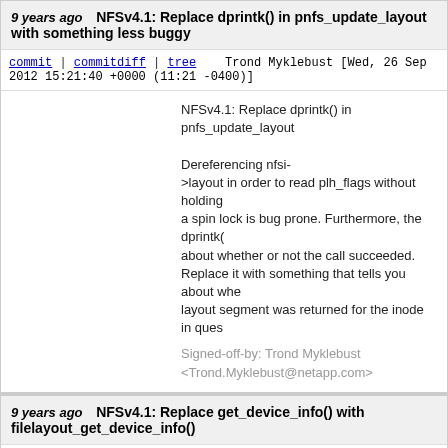9 years ago  NFSv4.1: Replace dprintk() in pnfs_update_layout with something less buggy
commit | commitdiff | tree   Trond Myklebust [Wed, 26 Sep 2012 15:21:40 +0000 (11:21 -0400)]
NFSv4.1: Replace dprintk() in pnfs_update_layout

Dereferencing nfsi->layout in order to read plh_flags without holding a spin lock is bug prone. Furthermore, the dprintk() about whether or not the call succeeded. Replace it with something that tells you about whe layout segment was returned for the inode in ques

Signed-off-by: Trond Myklebust <Trond.Myklebust@netapp.com>
9 years ago  NFSv4.1: Replace get_device_info() with filelayout_get_device_info()
commit | commitdiff | tree   Trond Myklebust [Wed, 19 Sep 2012 01:02:29 +0000 (21:02 -0400)]
NFSv4.1: Replace get_device_info() with filelayout

Fix the namespace pollution issue.

Signed-off-by: Trond Myklebust <Trond.Myklebust@netapp.com>